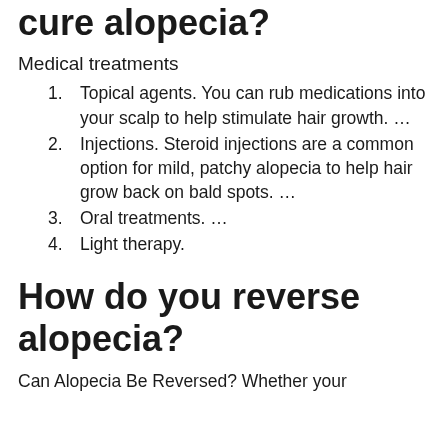cure alopecia?
Medical treatments
Topical agents. You can rub medications into your scalp to help stimulate hair growth. …
Injections. Steroid injections are a common option for mild, patchy alopecia to help hair grow back on bald spots. …
Oral treatments. …
Light therapy.
How do you reverse alopecia?
Can Alopecia Be Reversed? Whether your